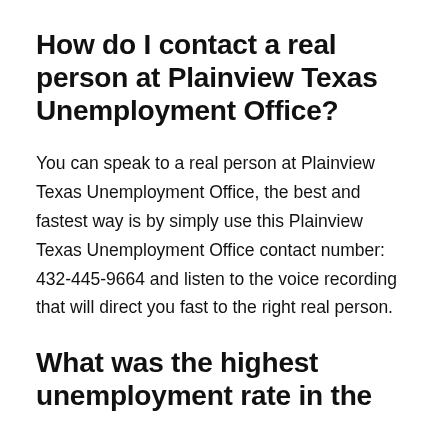How do I contact a real person at Plainview Texas Unemployment Office?
You can speak to a real person at Plainview Texas Unemployment Office, the best and fastest way is by simply use this Plainview Texas Unemployment Office contact number: 432-445-9664 and listen to the voice recording that will direct you fast to the right real person.
What was the highest unemployment rate in the